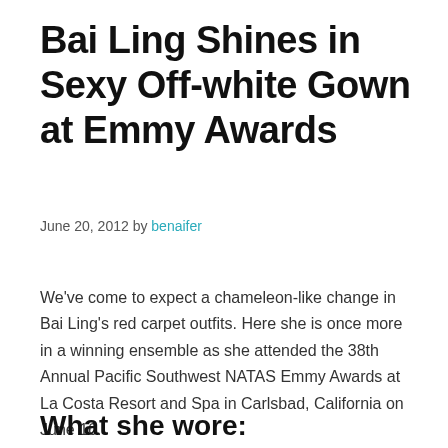Bai Ling Shines in Sexy Off-white Gown at Emmy Awards
June 20, 2012 by benaifer
We've come to expect a chameleon-like change in Bai Ling's red carpet outfits. Here she is once more in a winning ensemble as she attended the 38th Annual Pacific Southwest NATAS Emmy Awards at La Costa Resort and Spa in Carlsbad, California on June 16.
What she wore: